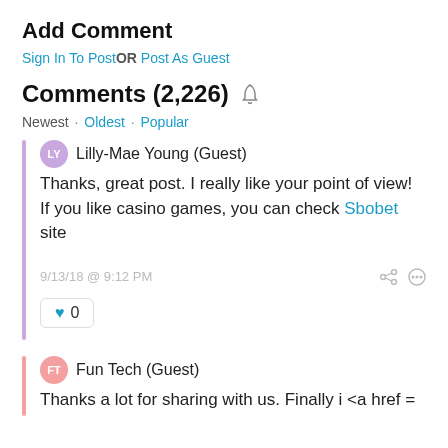Add Comment
Sign In To Post OR Post As Guest
Comments (2,226)
Newest · Oldest · Popular
Lilly-Mae Young (Guest)
Thanks, great post. I really like your point of view! If you like casino games, you can check Sbobet site
9/13/18 @ 9:12 PM
0
Fun Tech (Guest)
Thanks a lot for sharing with us. Finally i <a href =